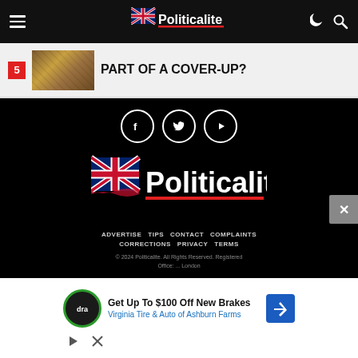Politicalite
Part Of A COVER-UP?
[Figure (logo): Politicalite logo with UK flag, large white text on black background]
ADVERTISE   TIPS   CONTACT   COMPLAINTS   CORRECTIONS   PRIVACY   TERMS
© 2024 Politicalite. All Rights Reserved. Registered Office: ... London
[Figure (other): Advertisement overlay: Get Up To $100 Off New Brakes - Virginia Tire & Auto of Ashburn Farms]